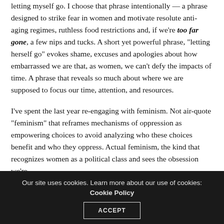letting myself go. I choose that phrase intentionally — a phrase designed to strike fear in women and motivate resolute anti-aging regimes, ruthless food restrictions and, if we're too far gone, a few nips and tucks. A short yet powerful phrase, "letting herself go" evokes shame, excuses and apologies about how embarrassed we are that, as women, we can't defy the impacts of time. A phrase that reveals so much about where we are supposed to focus our time, attention, and resources.
I've spent the last year re-engaging with feminism. Not air-quote "feminism" that reframes mechanisms of oppression as empowering choices to avoid analyzing who these choices benefit and who they oppress. Actual feminism, the kind that recognizes women as a political class and sees the obsession we're
Our site uses cookies. Learn more about our use of cookies: Cookie Policy ACCEPT